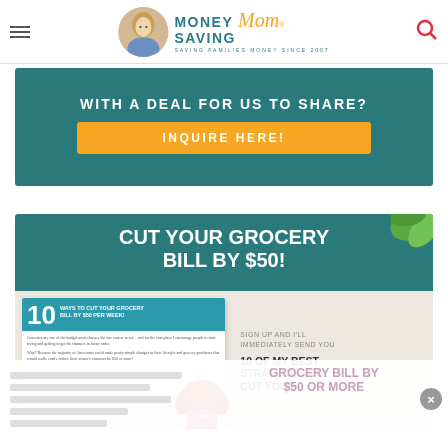Money Saving Mom — Saving Families Money Since 2007
[Figure (infographic): Teal banner with text 'WITH A DEAL FOR US TO SHARE?' and orange 'INQUIRE HERE!' button]
[Figure (infographic): Teal banner 'CUT YOUR GROCERY BILL BY $50!' with sign-up offer for 10 best strategies, booklet image, and bowl of food on wood background]
SIGN UP AND I'LL IMMEDIATELY SEND YOU 10 OF MY BEST STRATEGIES TO CUT YOUR GROCERY BILL BY $50 OR MORE
[Figure (screenshot): Popup overlay partially visible at bottom with blurred content and close X button, showing 'GROCERY BILL BY $50 OR MORE' text in pink/mauve]